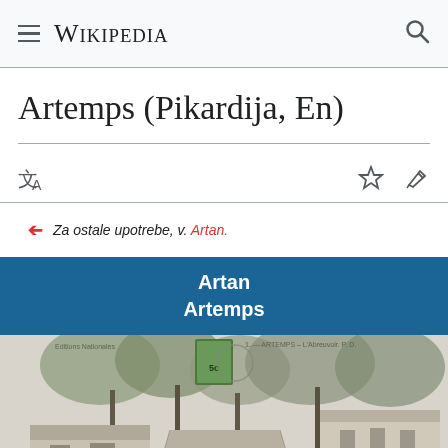WIKIPEDIA
Artemps (Pikardija, En)
Za ostale upotrebe, v. Artan.
| Artan |
| Artemps |
[Figure (photo): Old black and white postcard photograph of Artemps - L'Abreuvoir showing a rural road lined with trees and buildings, with a cow visible in the foreground. Caption text reads: ARTEMPS - L'Abreuvoir P.D.]